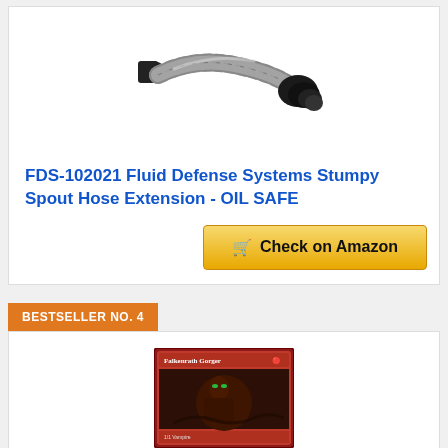[Figure (photo): FDS-102021 Fluid Defense Systems Stumpy Spout Hose Extension product photo — a braided silver flexible hose with black fittings on both ends]
FDS-102021 Fluid Defense Systems Stumpy Spout Hose Extension - OIL SAFE
Check on Amazon
BESTSELLER NO. 4
[Figure (photo): Falkenrath Gorger trading card with dark fantasy artwork showing a figure]